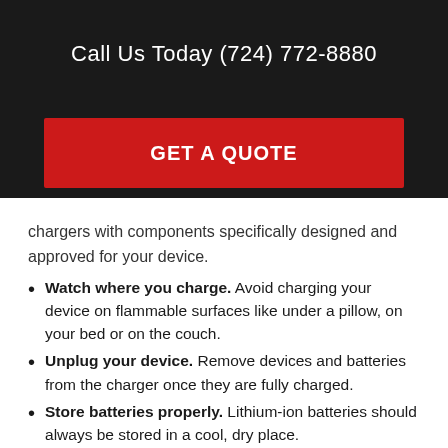Call Us Today (724) 772-8880
GET A QUOTE
chargers with components specifically designed and approved for your device.
Watch where you charge. Avoid charging your device on flammable surfaces like under a pillow, on your bed or on the couch.
Unplug your device. Remove devices and batteries from the charger once they are fully charged.
Store batteries properly. Lithium-ion batteries should always be stored in a cool, dry place.